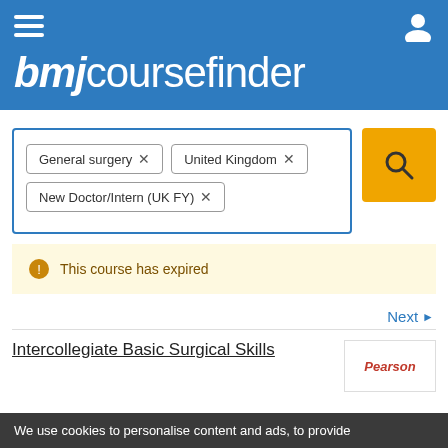bmjcoursefinder
General surgery × | United Kingdom × | New Doctor/Intern (UK FY) ×
This course has expired
Next ▶
Intercollegiate Basic Surgical Skills
We use cookies to personalise content and ads, to provide